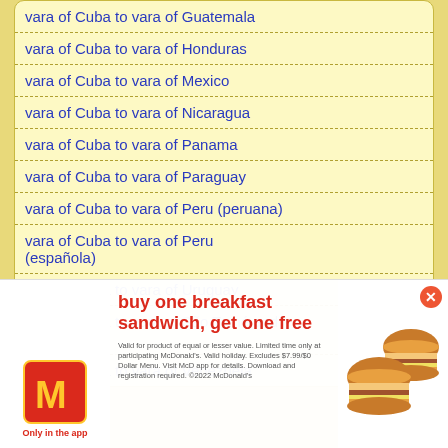vara of Cuba to vara of Guatemala
vara of Cuba to vara of Honduras
vara of Cuba to vara of Mexico
vara of Cuba to vara of Nicaragua
vara of Cuba to vara of Panama
vara of Cuba to vara of Paraguay
vara of Cuba to vara of Peru (peruana)
vara of Cuba to vara of Peru (española)
vara of Cuba to vara of Uruguay
vara of Cuba to vara of São Tomé and Principe
vara of Cuba to vara of Venezuela
Japanese
vara of Cuba to ri (里)
vara of Cu...
vara of Cu...
vara of C...
[Figure (advertisement): McDonald's advertisement overlay: 'buy one breakfast sandwich, get one free' with McDonald's logo, burger images, close button, and fine print about the offer being valid in the app.]